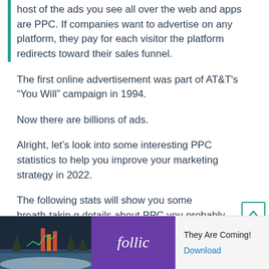host of the ads you see all over the web and apps are PPC. If companies want to advertise on any platform, they pay for each visitor the platform redirects toward their sales funnel.
The first online advertisement was part of AT&T's “You Will” campaign in 1994.
Now there are billions of ads.
Alright, let’s look into some interesting PPC statistics to help you improve your marketing strategy in 2022.
The following stats will show you some breath-taking details about PPC you probably didn’t suspect.
[Figure (other): Advertisement banner with game image on left, Follic brand logo on purple background, text 'They Are Coming!' and a Download link]